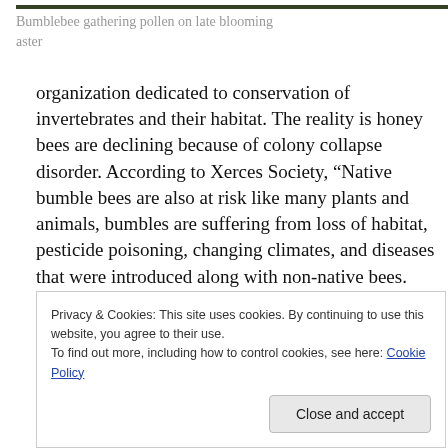[Figure (photo): Partial view of a bumblebee on a flower at the top of the page]
Bumblebee gathering pollen on late blooming aster
organization dedicated to conservation of invertebrates and their habitat. The reality is honey bees are declining because of colony collapse disorder. According to Xerces Society, “Native bumble bees are also at risk like many plants and animals, bumbles are suffering from loss of habitat, pesticide poisoning, changing climates, and diseases that were introduced along with non-native bees. Western bumble bee, the rusty-patched bumble bee and
Privacy & Cookies: This site uses cookies. By continuing to use this website, you agree to their use.
To find out more, including how to control cookies, see here: Cookie Policy